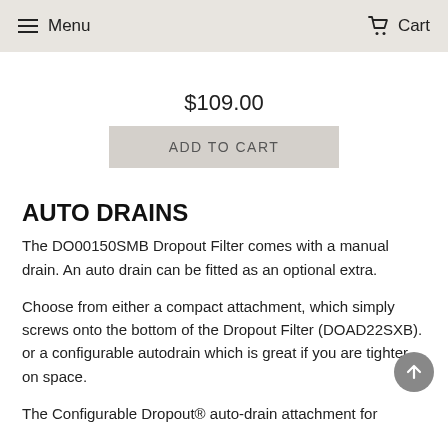Menu  Cart
$109.00
ADD TO CART
AUTO DRAINS
The DO00150SMB Dropout Filter comes with a manual drain. An auto drain can be fitted as an optional extra.
Choose from either a compact attachment, which simply screws onto the bottom of the Dropout Filter (DOAD22SXB). or a configurable autodrain which is great if you are tighter on space.
The Configurable Dropout® auto-drain attachment for